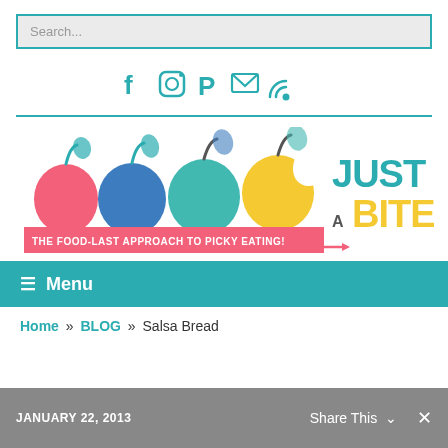Search...
[Figure (illustration): Social media icons: Facebook, Instagram, Pinterest, Email, RSS in teal color]
[Figure (logo): Just Take A Bite logo — four colorful apples (pink, blue, teal, yellow) with text 'JUST TAKE A BITE' and 'THE FOOD-LAST APPROACH TO PICKY EATING!']
☰ Menu
Home » BLOG » Salsa Bread
JANUARY 22, 2013   Share This ∨  ✕